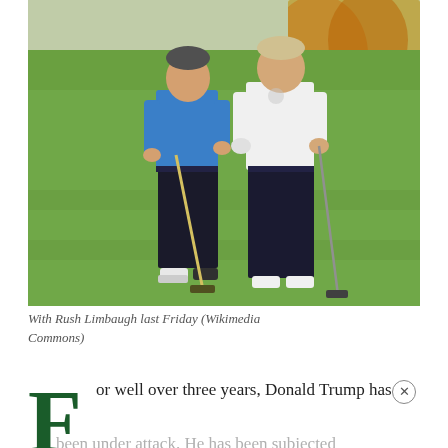[Figure (photo): Two men standing on a golf course. The man on the left wears a blue polo shirt and holds a golf club. The man on the right wears a white polo shirt and holds a golf club. Both stand on a green fairway with trees and landscaping in the background.]
With Rush Limbaugh last Friday (Wikimedia Commons)
For well over three years, Donald Trump has been under attack. He has been subjected to unprecedented slander by the media.